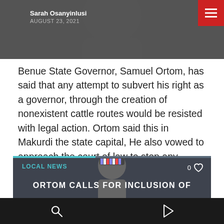[Figure (photo): Top portion showing a person in the background, dark/grey toned photo with author byline overlay]
Sarah Osanyinlusi
AUGUST 23, 2021
Benue State Governor, Samuel Ortom, has said that any attempt to subvert his right as a governor, through the creation of nonexistent cattle routes would be resisted with legal action. Ortom said this in Makurdi the state capital, He also vowed to approach the court of law to stop any violation of the Land Use [...]
[Figure (photo): Photo of a man wearing a traditional striped cap, appears to be a dignitary or political figure, with LOCAL NEWS label overlay and heart/like icon showing 0 likes]
ORTOM CALLS FOR INCLUSION OF
Navigation bar with search and play icons